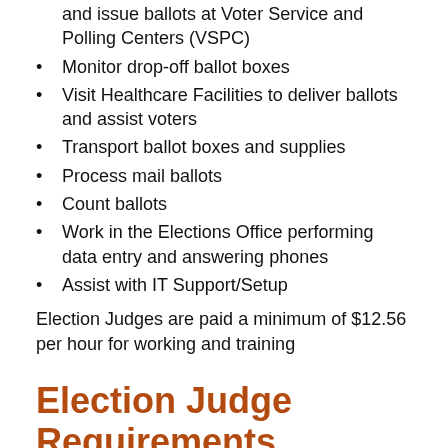and issue ballots at Voter Service and Polling Centers (VSPC)
Monitor drop-off ballot boxes
Visit Healthcare Facilities to deliver ballots and assist voters
Transport ballot boxes and supplies
Process mail ballots
Count ballots
Work in the Elections Office performing data entry and answering phones
Assist with IT Support/Setup
Election Judges are paid a minimum of $12.56 per hour for working and training
Election Judge Requirements